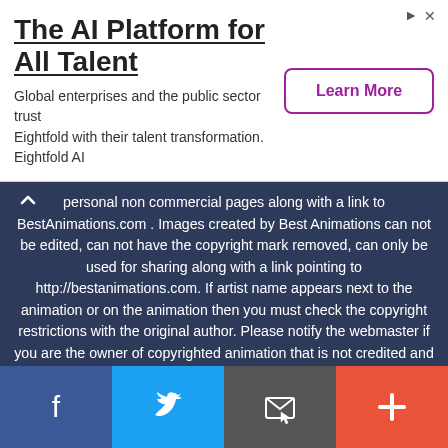[Figure (screenshot): Advertisement banner for Eightfold AI - 'The AI Platform for All Talent' with Learn More button]
personal non commercial pages along with a link to BestAnimations.com . Images created by Best Animations can not be edited, can not have the copyright mark removed, can only be used for sharing along with a link pointing to http://bestanimations.com. If artist name appears next to the animation or on the animation then you must check the copyright restrictions with the original author. Please notify the webmaster if you are the owner of copyrighted animation that is not credited and would like to receive credit and a link.
ABOUT   FAQ   PRIVACY   FACEBOOK
Best Animations is hand crafted since 1999 - 2020
[Figure (screenshot): Social media share bar with Facebook, Twitter, Email, and Plus buttons]